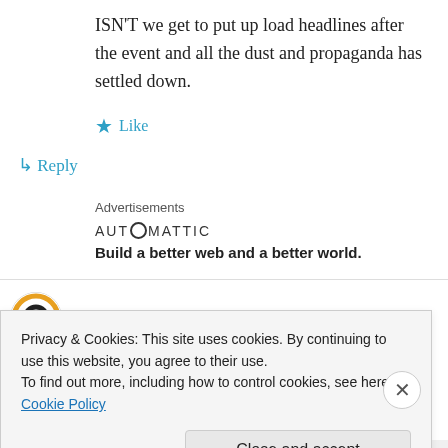ISN'T we get to put up load headlines after the event and all the dust and propaganda has settled down.
★ Like
↳ Reply
Advertisements
[Figure (logo): Automattic logo with tagline: Build a better web and a better world.]
Eclipse Now on 12 March 2011 at 9:33 AM
Privacy & Cookies: This site uses cookies. By continuing to use this website, you agree to their use.
To find out more, including how to control cookies, see here: Cookie Policy
Close and accept